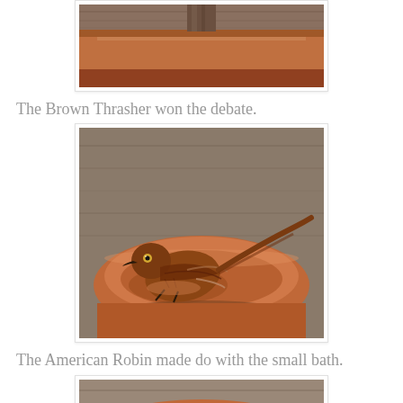[Figure (photo): Partial photo of a terracotta bird bath or pot, cut off at top of page]
The Brown Thrasher won the debate.
[Figure (photo): A Brown Thrasher bird sitting in a terracotta clay saucer used as a bird bath, with a wooden background]
The American Robin made do with the small bath.
[Figure (photo): Partial photo at the bottom of the page showing the edge of a terracotta bird bath or similar scene, cut off]